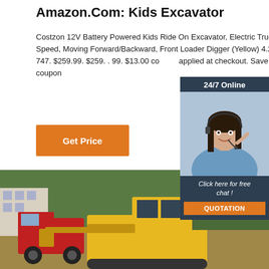Amazon.Com: Kids Excavator
Costzon 12V Battery Powered Kids Ride On Excavator, Electric Truck with High/Low Speed, Moving Forward/Backward, Front Loader Digger (Yellow) 4.2 out of 5 stars. 747. $259.99. $259. . 99. $13.00 coupon applied at checkout. Save $13.00 with coupon
[Figure (other): Orange 'Get Price' button]
[Figure (photo): Chat widget overlay showing a woman with headset, 24/7 Online header, 'Click here for free chat!' text, and orange QUOTATION button]
[Figure (photo): Photo of industrial/construction vehicles including yellow excavator and red vehicles with green trees in background]